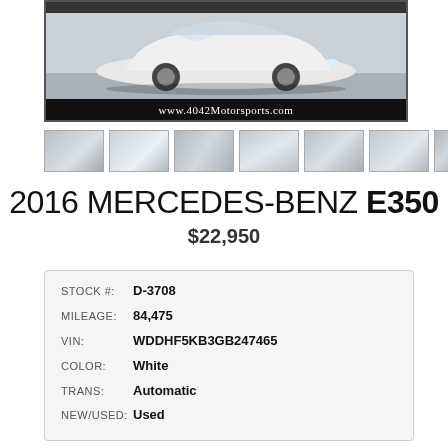[Figure (photo): Main photo of white 2016 Mercedes-Benz E350 with www.4042Motorsports.com watermark bar at bottom]
[Figure (photo): Row of 7 thumbnail photos of white Mercedes-Benz E350 from various angles]
2016 MERCEDES-BENZ E350
$22,950
| STOCK #: | D-3708 |
| MILEAGE: | 84,475 |
| VIN: | WDDHF5KB3GB247465 |
| COLOR: | White |
| TRANS: | Automatic |
| NEW/USED: | Used |